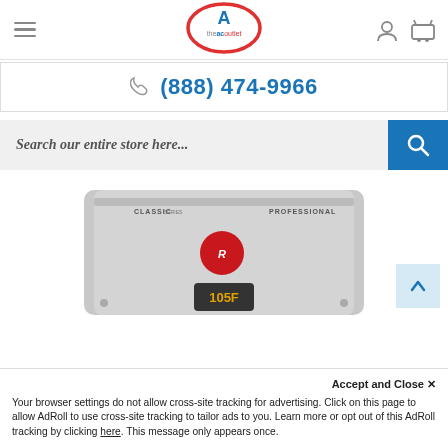theacoutlet - navigation header with hamburger menu, logo, user icon, and cart icon
(888) 474-9966
Search our entire store here...
[Figure (photo): Rheem Classic Series Professional tankless water heater product photo, silver rectangular unit with red Rheem logo and digital display showing 105F]
Accept and Close ✕
Your browser settings do not allow cross-site tracking for advertising. Click on this page to allow AdRoll to use cross-site tracking to tailor ads to you. Learn more or opt out of this AdRoll tracking by clicking here. This message only appears once.